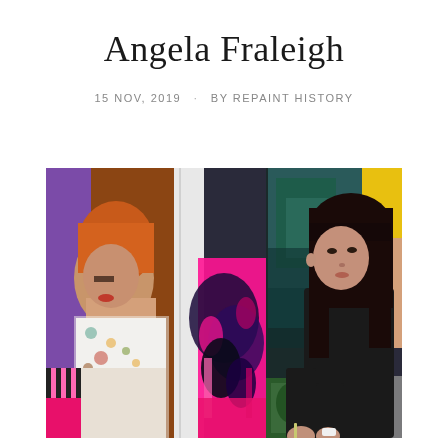Angela Fraleigh
15 NOV, 2019 · BY REPAINT HISTORY
[Figure (photo): Angela Fraleigh, a dark-haired woman in a black top, painting in her studio surrounded by large colorful canvases with figurative and floral imagery in vibrant pinks, purples, teals, and yellows.]